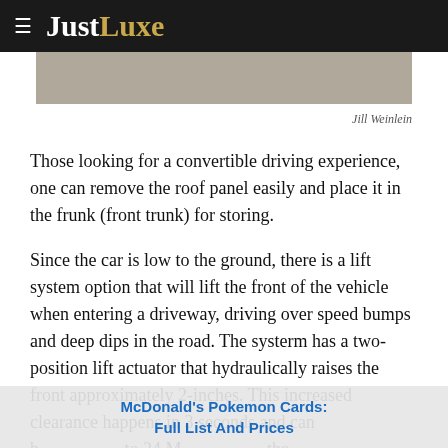JustLuxe
[Figure (photo): Partial cropped photo of a car, gray/brown tones, shown at top of page]
Jill Weinlein
Those looking for a convertible driving experience, one can remove the roof panel easily and place it in the frunk (front trunk) for storing.
Since the car is low to the ground, there is a lift system option that will lift the front of the vehicle when entering a driveway, driving over speed bumps and deep dips in the road. The systerm has a two-position lift actuator that hydraulically raises the front approximately 2-inches. This increased clearance happens in 3 seconds and can b... to 24 M... the
McDonald's Pokemon Cards: Full List And Prices